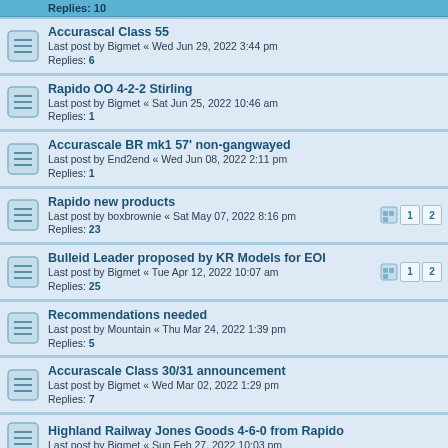Replies: 10
Accurascal Class 55
Last post by Bigmet « Wed Jun 29, 2022 3:44 pm
Replies: 6
Rapido OO 4-2-2 Stirling
Last post by Bigmet « Sat Jun 25, 2022 10:46 am
Replies: 1
Accurascale BR mk1 57' non-gangwayed
Last post by End2end « Wed Jun 08, 2022 2:11 pm
Replies: 1
Rapido new products
Last post by boxbrownie « Sat May 07, 2022 8:16 pm
Replies: 23
Bulleid Leader proposed by KR Models for EOI
Last post by Bigmet « Tue Apr 12, 2022 10:07 am
Replies: 25
Recommendations needed
Last post by Mountain « Thu Mar 24, 2022 1:39 pm
Replies: 5
Accurascale Class 30/31 announcement
Last post by Bigmet « Wed Mar 02, 2022 1:29 pm
Replies: 7
Highland Railway Jones Goods 4-6-0 from Rapido
Last post by Bigmet « Sun Feb 27, 2022 10:03 pm
Rails of Sheffield SECR/SR/BR Maunsell D1 4-4-0
Last post by Bigmet « Thu Feb 24, 2022 11:45 am
Langley Models 10% Website Discount Voucher
Last post by glencairn « Tue Feb 08, 2022 4:57 pm